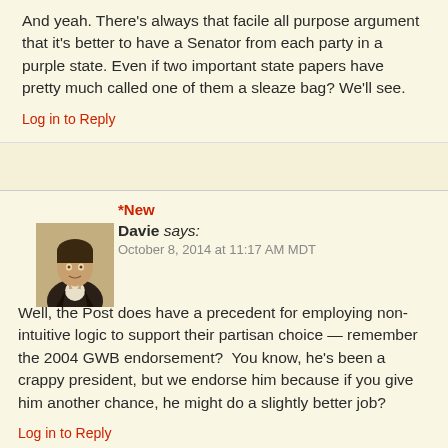And yeah. There's always that facile all purpose argument that it's better to have a Senator from each party in a purple state. Even if two important state papers have pretty much called one of them a sleaze bag? We'll see.
Log in to Reply
*New
Davie says:
October 8, 2014 at 11:17 AM MDT
Well, the Post does have a precedent for employing non-intuitive logic to support their partisan choice — remember the 2004 GWB endorsement?  You know, he's been a crappy president, but we endorse him because if you give him another chance, he might do a slightly better job?
Log in to Reply